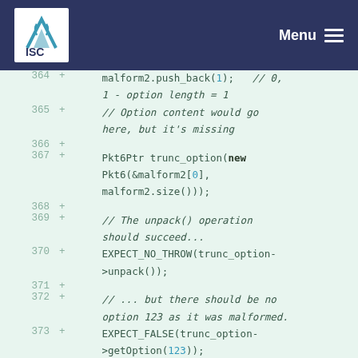ISC Menu
[Figure (screenshot): Code diff viewer showing lines 364-375 of C++ test code with line numbers, plus signs, and syntax-highlighted source code on a light green background.]